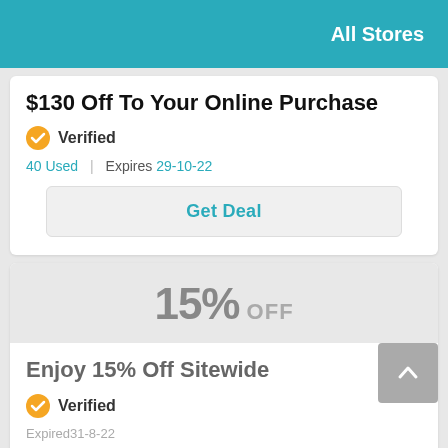All Stores
$130 Off To Your Online Purchase
Verified
40 Used | Expires 29-10-22
Get Deal
15% OFF
Enjoy 15% Off Sitewide
Verified
Expired31-8-22
Q%